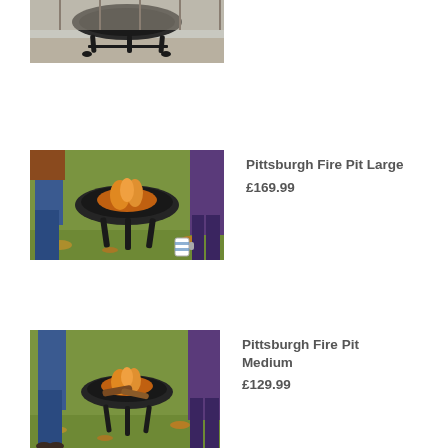[Figure (photo): Partial view of a fire pit on a patio, showing the bowl and legs from waist height, with wooden fence in background]
[Figure (photo): Pittsburgh Fire Pit Large - people standing around a large black bowl fire pit on grass, with logs burning inside and a mug on the ground nearby]
Pittsburgh Fire Pit Large
£169.99
[Figure (photo): Pittsburgh Fire Pit Medium - similar scene with people around a medium-sized black bowl fire pit on grass, partial view cropped at bottom]
Pittsburgh Fire Pit Medium
£129.99